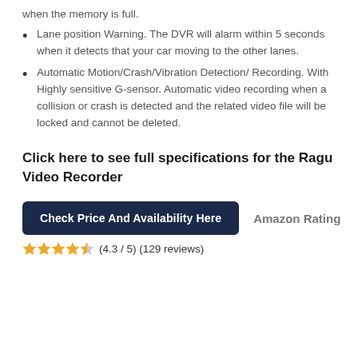when the memory is full.
Lane position Warning. The DVR will alarm within 5 seconds when it detects that your car moving to the other lanes.
Automatic Motion/Crash/Vibration Detection/ Recording. With Highly sensitive G-sensor. Automatic video recording when a collision or crash is detected and the related video file will be locked and cannot be deleted.
Click here to see full specifications for the Ragu Video Recorder
Check Price And Availability Here | Amazon Rating
★★★★☆ (4.3 / 5) (129 reviews)